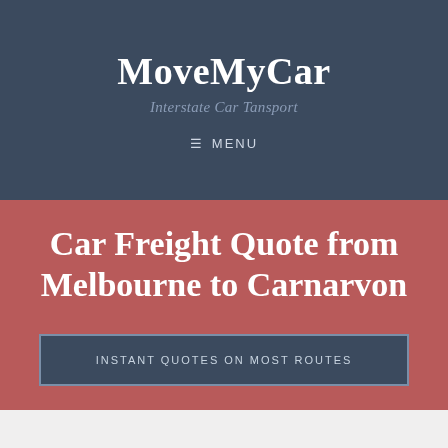MoveMyCar
Interstate Car Tansport
≡ MENU
Car Freight Quote from Melbourne to Carnarvon
INSTANT QUOTES ON MOST ROUTES